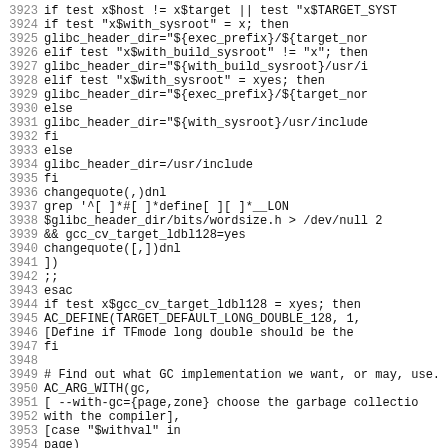Code listing lines 3923–3954, shell/autoconf script for GCC configuration